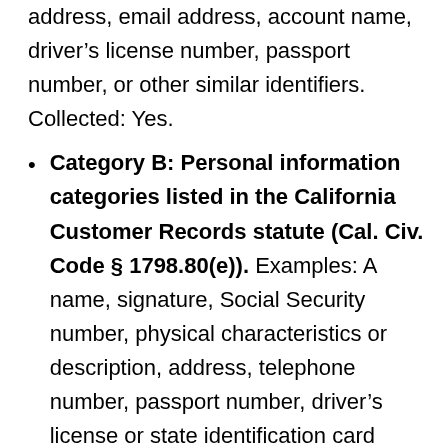address, email address, account name, driver's license number, passport number, or other similar identifiers. Collected: Yes.
Category B: Personal information categories listed in the California Customer Records statute (Cal. Civ. Code § 1798.80(e)). Examples: A name, signature, Social Security number, physical characteristics or description, address, telephone number, passport number, driver's license or state identification card number, insurance policy number, education, employment, employment history, bank account number, credit card number, debit card number, or any other financial information, medical information, or health insurance